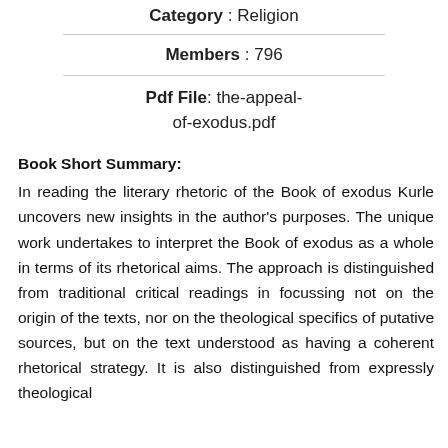Category : Religion
Members : 796
Pdf File: the-appeal-of-exodus.pdf
Book Short Summary:
In reading the literary rhetoric of the Book of exodus Kurle uncovers new insights in the author's purposes. The unique work undertakes to interpret the Book of exodus as a whole in terms of its rhetorical aims. The approach is distinguished from traditional critical readings in focussing not on the origin of the texts, nor on the theological specifics of putative sources, but on the text understood as having a coherent rhetorical strategy. It is also distinguished from expressly theological